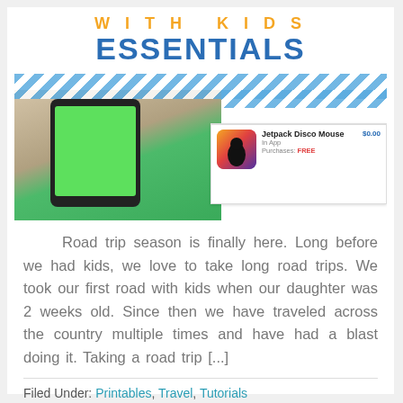WITH KIDS ESSENTIALS
[Figure (photo): Photo of a green pixel/LED device with a phone, alongside an app store card showing 'Jetpack Disco Mouse' In App, Purchases: FREE, $0.00]
Road trip season is finally here. Long before we had kids, we love to take long road trips. We took our first road with kids when our daughter was 2 weeks old. Since then we have traveled across the country multiple times and have had a blast doing it. Taking a road trip [...]
Filed Under: Printables, Travel, Tutorials